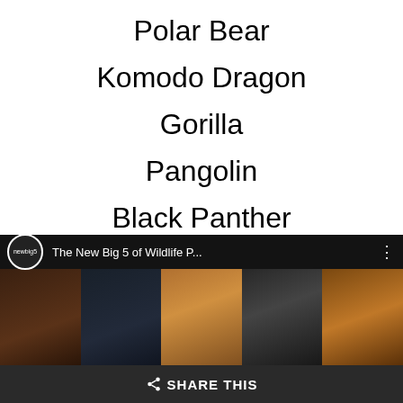Polar Bear
Komodo Dragon
Gorilla
Pangolin
Black Panther
[Figure (screenshot): YouTube video thumbnail showing 'The New Big 5 of Wildlife P...' with channel logo 'newbig5', featuring panels of wildlife animals including a gorilla, lion, and tiger on a dark background, with a share button bar at the bottom.]